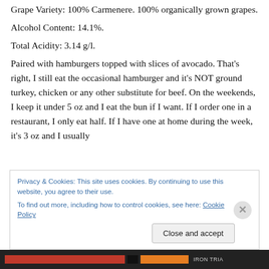Grape Variety: 100% Carmenere. 100% organically grown grapes.
Alcohol Content: 14.1%.
Total Acidity: 3.14 g/l.
Paired with hamburgers topped with slices of avocado. That's right, I still eat the occasional hamburger and it's NOT ground turkey, chicken or any other substitute for beef. On the weekends, I keep it under 5 oz and I eat the bun if I want. If I order one in a restaurant, I only eat half. If I have one at home during the week, it's 3 oz and I usually
Privacy & Cookies: This site uses cookies. By continuing to use this website, you agree to their use.
To find out more, including how to control cookies, see here: Cookie Policy
Close and accept